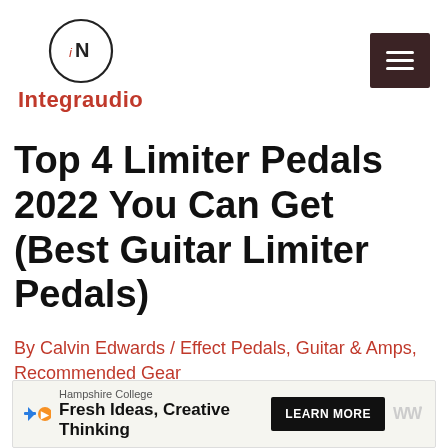Integraudio
Top 4 Limiter Pedals 2022 You Can Get (Best Guitar Limiter Pedals)
By Calvin Edwards / Effect Pedals, Guitar & Amps, Recommended Gear
[Figure (other): Advertisement banner: Hampshire College – Fresh Ideas, Creative Thinking. Learn More button.]